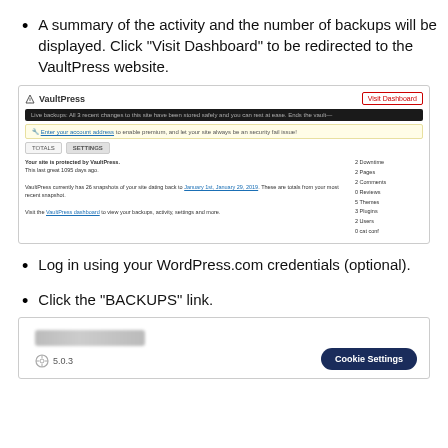A summary of the activity and the number of backups will be displayed. Click “Visit Dashboard” to be redirected to the VaultPress website.
[Figure (screenshot): Screenshot of the VaultPress dashboard plugin page showing a 'Visit Dashboard' button in red border, a dark notification bar, a yellow warning bar with a link, TOTALS/SETTINGS tabs, and backup statistics on the right side.]
Log in using your WordPress.com credentials (optional).
Click the “BACKUPS” link.
[Figure (screenshot): Partial screenshot showing a blurred/redacted bar, WordPress logo with version 5.0.3, and a Cookie Settings button in dark navy blue.]